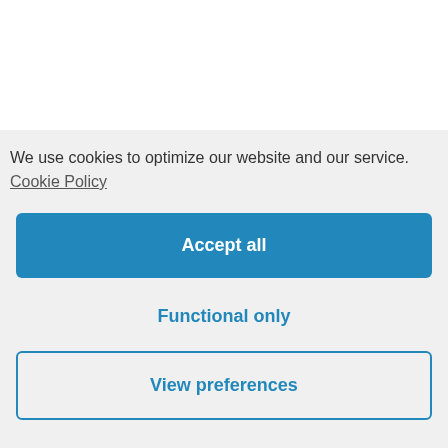We use cookies to optimize our website and our service.
Cookie Policy
Accept all
Functional only
View preferences